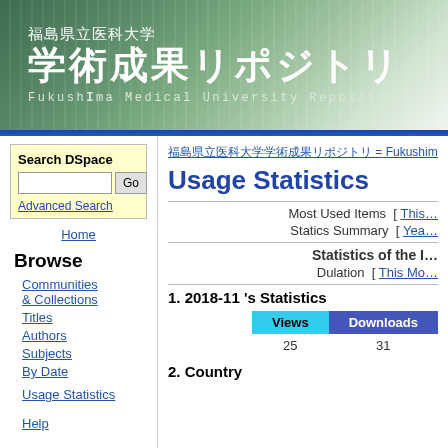福島県立医科大学 学術成果リポジトリ Fukushima Medical University Repository
Search DSpace
Advanced Search
Home
Browse
Communities & Collections
Titles
Authors
Subjects
By Date
Usage Statistics
Help
福島県立医科大学学術成果リポジトリ = Fukushima Medical University Repository
Usage Statistics
Most Used Items [ This ...
Statics Summary [ Year...
Statistics of the I...
Duration [ This Mo...
1. 2018-11 's Statistics
| Views | Downloads |
| --- | --- |
| 25 | 31 |
2. Country